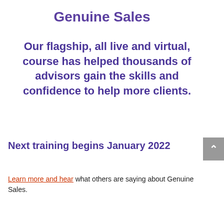Genuine Sales
Our flagship, all live and virtual, course has helped thousands of advisors gain the skills and confidence to help more clients.
Next training begins January 2022
Learn more and hear what others are saying about Genuine Sales.